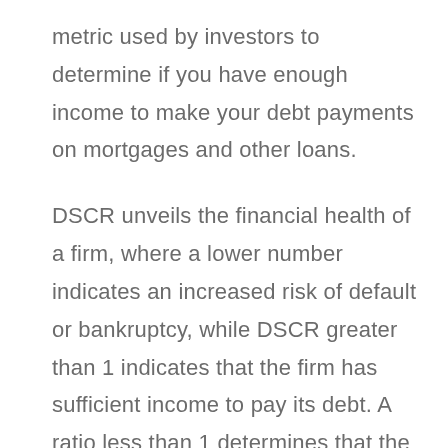metric used by investors to determine if you have enough income to make your debt payments on mortgages and other loans.
DSCR unveils the financial health of a firm, where a lower number indicates an increased risk of default or bankruptcy, while DSCR greater than 1 indicates that the firm has sufficient income to pay its debt. A ratio less than 1 determines that the firm doesn't have enough net income